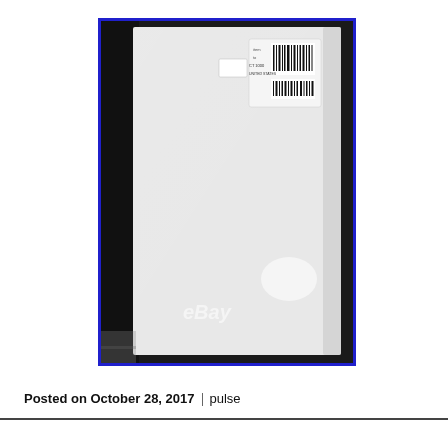[Figure (photo): Photo of a white rectangular package/box with a barcode shipping label in the upper right corner, bordered in blue. An eBay watermark is visible in the lower center of the image. The background is dark/black.]
Posted on October 28, 2017 | pulse